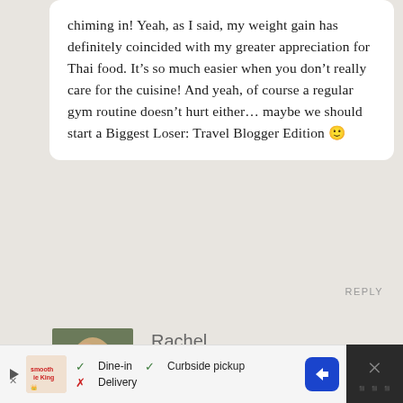chiming in! Yeah, as I said, my weight gain has definitely coincided with my greater appreciation for Thai food. It’s so much easier when you don’t really care for the cuisine! And yeah, of course a regular gym routine doesn’t hurt either… maybe we should start a Biggest Loser: Travel Blogger Edition 🙂
REPLY
[Figure (photo): Profile photo of commenter Rachel - person crouching outdoors]
Rachel
March 23 2012
[Figure (infographic): Advertisement bar: Smoothie King ad with Dine-in checkmark, Curbside pickup checkmark, Delivery X mark, blue diamond arrow button, dark close button with X]